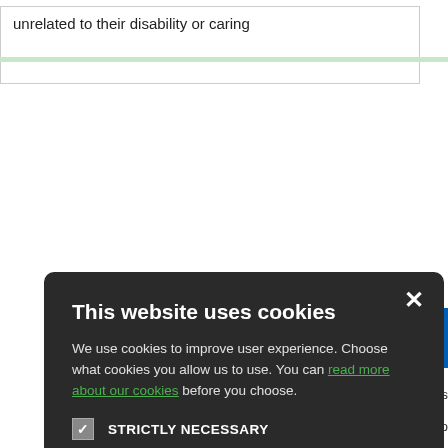unrelated to their disability or caring
[Figure (screenshot): Cookie consent modal dialog on NHS website with dark background. Contains title 'This website uses cookies', body text about cookie usage, checkboxes for STRICTLY NECESSARY (checked), PERFORMANCE, TARGETING, FUNCTIONALITY, and two buttons: ACCEPT ALL (green) and DECLINE ALL (outline).]
[Figure (logo): NHS logo - blue rectangle with white bold letters 'NH' visible (partially cropped)]
ebsite | Data Proces
| Co